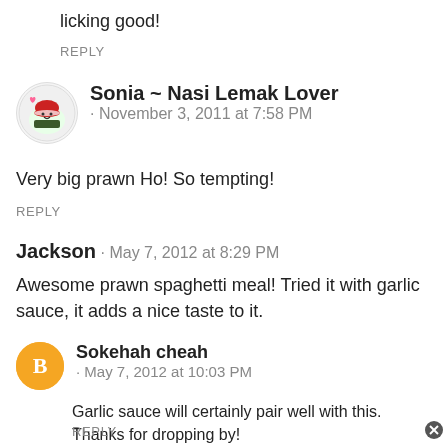licking good!
REPLY
Sonia ~ Nasi Lemak Lover · November 3, 2011 at 7:58 PM
Very big prawn Ho! So tempting!
REPLY
Jackson · May 7, 2012 at 8:29 PM
Awesome prawn spaghetti meal! Tried it with garlic sauce, it adds a nice taste to it.
Sokehah cheah · May 7, 2012 at 10:03 PM
Garlic sauce will certainly pair well with this. Thanks for dropping by!
REPLY